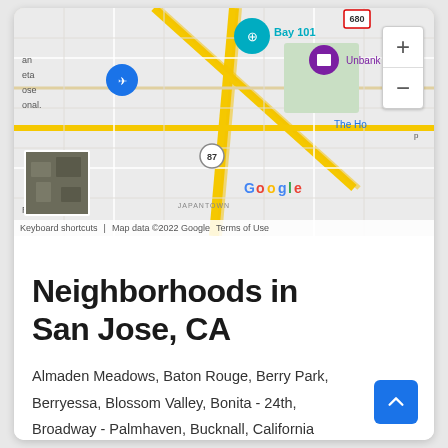[Figure (screenshot): Google Maps screenshot showing San Jose area with roads, highways (87, 680), location pins (Bay 101, airport, Unbank), and map controls (zoom in/out). Shows Japantown label, Google logo, and map attribution footer. Small satellite thumbnail in lower left corner.]
Neighborhoods in San Jose, CA
Almaden Meadows, Baton Rouge, Berry Park, Berryessa, Blossom Valley, Bonita - 24th, Broadway - Palmhaven, Bucknall, California